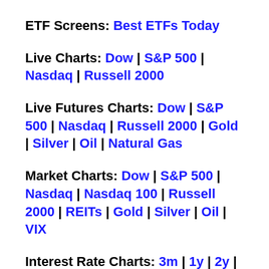ETF Screens: Best ETFs Today
Live Charts: Dow | S&P 500 | Nasdaq | Russell 2000
Live Futures Charts: Dow | S&P 500 | Nasdaq | Russell 2000 | Gold | Silver | Oil | Natural Gas
Market Charts: Dow | S&P 500 | Nasdaq | Nasdaq 100 | Russell 2000 | REITs | Gold | Silver | Oil | VIX
Interest Rate Charts: 3m | 1y | 2y | 10y | 30y Mortgage | Aaa | Baa
Currency Charts: US Dollar Index | Euro | British